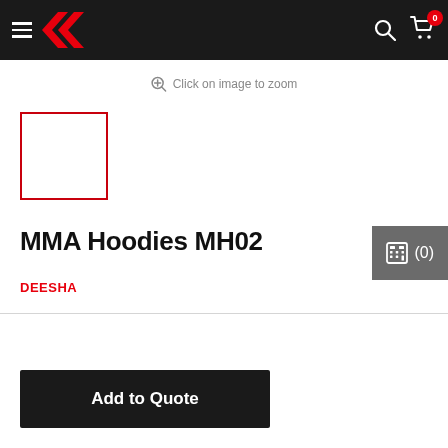Navigation header with hamburger menu, Deesha logo (red arrows), search icon, and cart icon with badge 0
Click on image to zoom
[Figure (photo): Small product thumbnail placeholder with red border]
MMA Hoodies MH02
DEESHA
Add to Quote